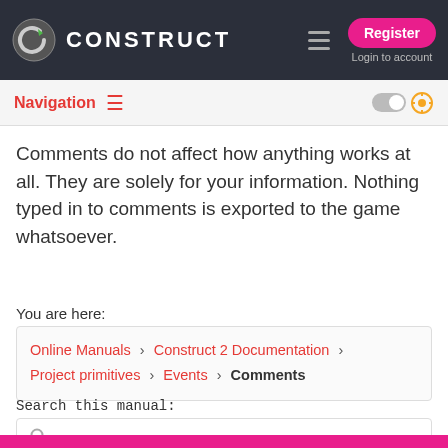CONSTRUCT — Register | Login to account
Navigation
Comments do not affect how anything works at all. They are solely for your information. Nothing typed in to comments is exported to the game whatsoever.
You are here:
Online Manuals > Construct 2 Documentation > Project primitives > Events > Comments
Search this manual: